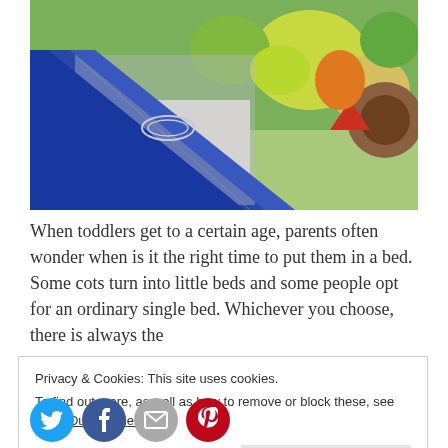[Figure (photo): Close-up photo of a blue-framed baby cot or playpen with mesh netting, showing colorful cartoon graphic fabric in the background with animals and shapes]
When toddlers get to a certain age, parents often wonder when is it the right time to put them in a bed. Some cots turn into little beds and some people opt for an ordinary single bed. Whichever you choose, there is always the
Privacy & Cookies: This site uses cookies.
To find out more, as well as how to remove or block these, see here: Our Cookie Policy
Close and accept